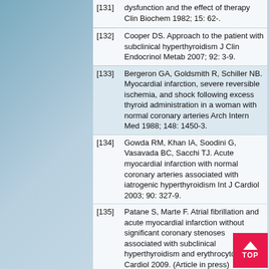[131] dysfunction and the effect of therapy Clin Biochem 1982; 15: 62-.
[132] Cooper DS. Approach to the patient with subclinical hyperthyroidism J Clin Endocrinol Metab 2007; 92: 3-9.
[133] Bergeron GA, Goldsmith R, Schiller NB. Myocardial infarction, severe reversible ischemia, and shock following excess thyroid administration in a woman with normal coronary arteries Arch Intern Med 1988; 148: 1450-3.
[134] Gowda RM, Khan IA, Soodini G, Vasavada BC, Sacchi TJ. Acute myocardial infarction with normal coronary arteries associated with iatrogenic hyperthyroidism Int J Cardiol 2003; 90: 327-9.
[135] Patane S, Marte F. Atrial fibrillation and acute myocardial infarction without significant coronary stenoses associated with subclinical hyperthyroidism and erythrocytosis Int J Cardiol 2009. (Article in press)
[136] Patane S, Marte F, Curro A, Cimino C.